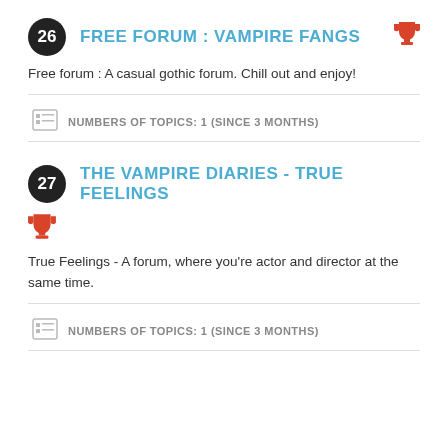26 FREE FORUM : VAMPIRE FANGS
Free forum : A casual gothic forum. Chill out and enjoy!
NUMBERS OF TOPICS: 1 (SINCE 3 MONTHS)
27 THE VAMPIRE DIARIES - TRUE FEELINGS
True Feelings - A forum, where you're actor and director at the same time.
NUMBERS OF TOPICS: 1 (SINCE 3 MONTHS)